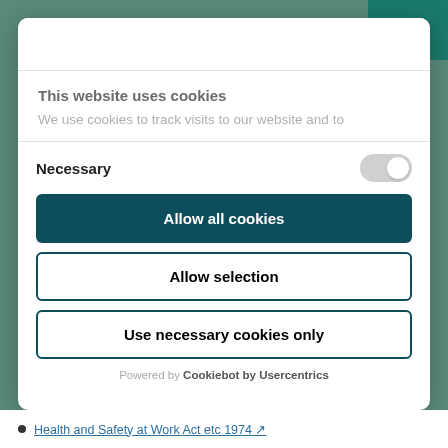This website uses cookies
We use cookies to track visits to our website and to
Necessary
[Figure (other): Toggle switch in off/grey state]
[Figure (other): Allow all cookies button (dark teal background, white text)]
[Figure (other): Allow selection button (white background, dark teal border)]
[Figure (other): Use necessary cookies only button (white background, dark teal border)]
Powered by Cookiebot by Usercentrics
Health and Safety at Work Act etc 1974